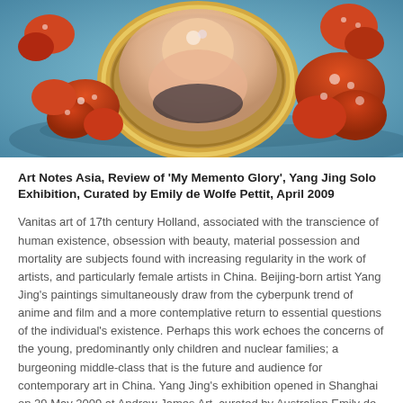[Figure (photo): A painting or photograph showing a figure reflected in an ornate oval gold mirror frame, surrounded by orange mushroom-like forms on a teal/blue background.]
Art Notes Asia, Review of 'My Memento Glory', Yang Jing Solo Exhibition, Curated by Emily de Wolfe Pettit, April 2009
Vanitas art of 17th century Holland, associated with the transcience of human existence, obsession with beauty, material possession and mortality are subjects found with increasing regularity in the work of artists, and particularly female artists in China. Beijing-born artist Yang Jing's paintings simultaneously draw from the cyberpunk trend of anime and film and a more contemplative return to essential questions of the individual's existence. Perhaps this work echoes the concerns of the young, predominantly only children and nuclear families; a burgeoning middle-class that is the future and audience for contemporary art in China. Yang Jing's exhibition opened in Shanghai on 29 May 2009 at Andrew James Art, curated by Australian Emily de Wolfe Pettit, director of an independent, China-based arts consultancy. emily@artsinfluentialchina.com